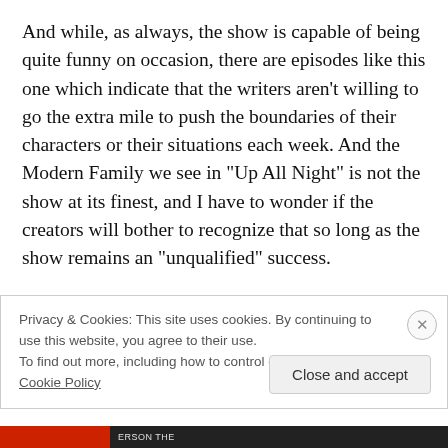And while, as always, the show is capable of being quite funny on occasion, there are episodes like this one which indicate that the writers aren't willing to go the extra mile to push the boundaries of their characters or their situations each week. And the Modern Family we see in “Up All Night” is not the show at its finest, and I have to wonder if the creators will bother to recognize that so long as the show remains an “unqualified” success.
Privacy & Cookies: This site uses cookies. By continuing to use this website, you agree to their use.
To find out more, including how to control cookies, see here: Cookie Policy